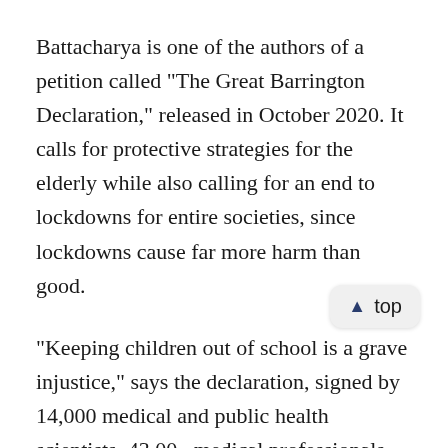Battacharya is one of the authors of a petition called "The Great Barrington Declaration," released in October 2020. It calls for protective strategies for the elderly while also calling for an end to lockdowns for entire societies, since lockdowns cause far more harm than good.
"Keeping children out of school is a grave injustice," says the declaration, signed by 14,000 medical and public health scientists, 43,000 medical professionals and nearly 800,000 citizens. Dr. Martin Kulldorff, professor of medicine at